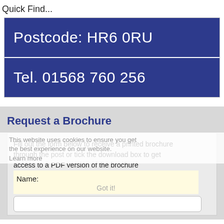Quick Find...
Postcode: HR6 0RU
Tel. 01568 760 256
Request a Brochure
Fill out the form below to receive a printed brochure through the post or tick the download box to get access to a PDF version of the brochure
Name:
This website uses cookies to ensure you get the best experience on our website.
Learn more
Got it!